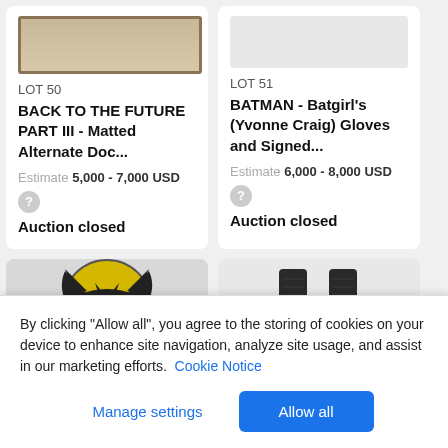[Figure (photo): Auction lot 50 card showing a framed photograph at top, lot number, title, estimate, and auction closed status]
LOT 50
BACK TO THE FUTURE PART III - Matted Alternate Doc...
Estimate 5,000 - 7,000 USD
Auction closed
[Figure (photo): Auction lot 51 card with lot number, title, estimate, and auction closed status]
LOT 51
BATMAN - Batgirl's (Yvonne Craig) Gloves and Signed...
Estimate 6,000 - 8,000 USD
Auction closed
[Figure (photo): Batman logo - circular yellow and black bat symbol]
[Figure (photo): Dark boots or shoe props standing upright]
By clicking "Allow all", you agree to the storing of cookies on your device to enhance site navigation, analyze site usage, and assist in our marketing efforts. Cookie Notice
Manage settings
Allow all